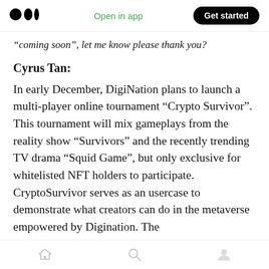Open in app  Get started
“coming soon”, let me know please thank you?
Cyrus Tan:
In early December, DigiNation plans to launch a multi-player online tournament “Crypto Survivor”. This tournament will mix gameplays from the reality show “Survivors” and the recently trending TV drama “Squid Game”, but only exclusive for whitelisted NFT holders to participate. CryptoSurvivor serves as an usercase to demonstrate what creators can do in the metaverse empowered by Digination. The
Home  Search  Profile